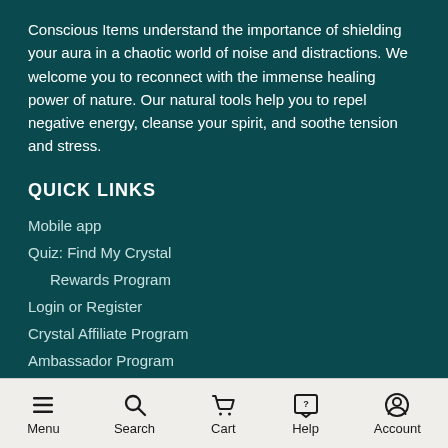Conscious Items understand the importance of shielding your aura in a chaotic world of noise and distractions. We welcome you to reconnect with the immense healing power of nature. Our natural tools help you to repel negative energy, cleanse your spirit, and soothe tension and stress.
QUICK LINKS
Mobile app
Quiz: Find My Crystal
Rewards Program
Login or Register
Crystal Affiliate Program
Ambassador Program
Crystals and their Meanings
Disclaimer
Menu  Search  Cart  Help  Account